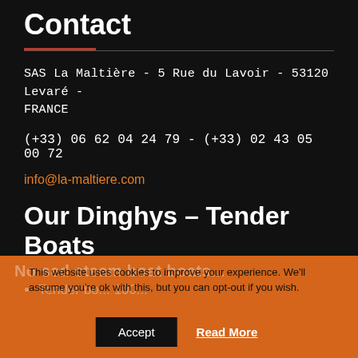Contact
SAS La Maltière - 5 Rue du Lavoir - 53120 Levaré - FRANCE
(+33) 06 62 04 24 79 - (+33) 02 43 05 00 72
info@la-maltiere.com
Our Dinghys – Tender Boats
This website uses cookies to improve your experience. We'll assume you're ok with this, but you can opt-out if you wish.